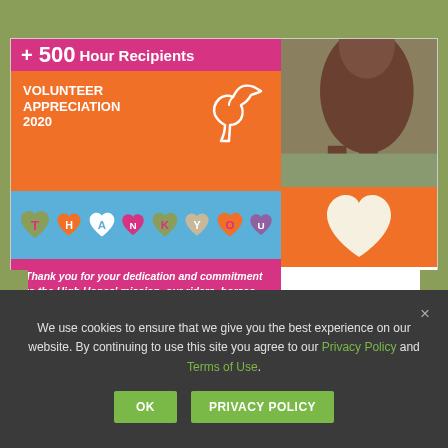[Figure (illustration): Volunteer Appreciation 2020 card with pink header '+ 500 Hour Recipients', orange section with horse logo and 'VOLUNTEER APPRECIATION 2020', blue hearts band spelling THANK YOU, photo of a brown horse, orange panel with large heart, and pink section with thank you message. Cookie consent banner overlay at bottom.]
We use cookies to ensure that we give you the best experience on our website. By continuing to use this site you agree to our Privacy Policy and Terms of Use.
OK
PRIVACY POLICY